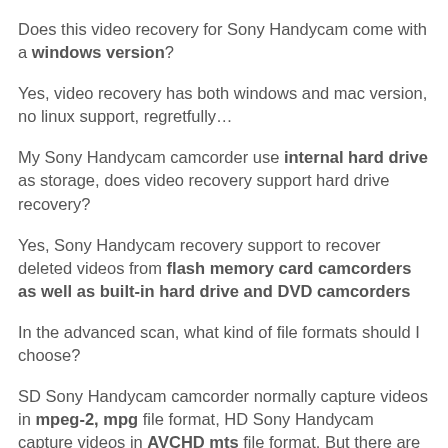Does this video recovery for Sony Handycam come with a windows version?
Yes, video recovery has both windows and mac version, no linux support, regretfully…
My Sony Handycam camcorder use internal hard drive as storage, does video recovery support hard drive recovery?
Yes, Sony Handycam recovery support to recover deleted videos from flash memory card camcorders as well as built-in hard drive and DVD camcorders
In the advanced scan, what kind of file formats should I choose?
SD Sony Handycam camcorder normally capture videos in mpeg-2, mpg file format, HD Sony Handycam capture videos in AVCHD mts file format. But there are exceptions, like some models of professional Sony camcorders, which also support to capture